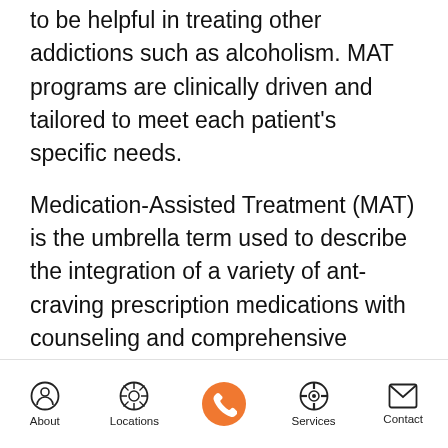to be helpful in treating other addictions such as alcoholism. MAT programs are clinically driven and tailored to meet each patient's specific needs.
Medication-Assisted Treatment (MAT) is the umbrella term used to describe the integration of a variety of ant-craving prescription medications with counseling and comprehensive psychosocial/behavioral therapy programs to aid clients in ceasing substance abuse.
About | Locations | [Phone] | Services | Contact